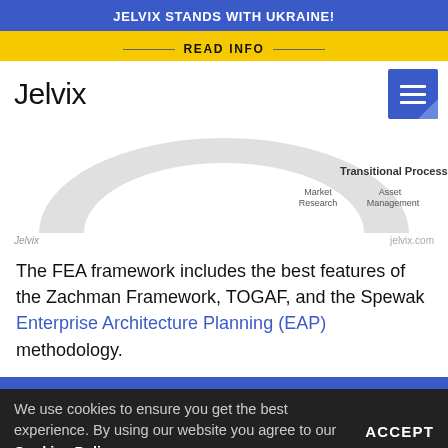JELVIX STANDS WITH UKRAINE!
READ INFO
[Figure (logo): Jelvix logo text in thin sans-serif font]
[Figure (infographic): Transitional Processes diagram showing a semicircle with Market Research and Asset Management labels]
Jelvix    jelvix.com
The FEA framework includes the best features of the Zachman Framework, TOGAF, and the Spewak Enterprise Architecture Planning (EAP) methodology.
We use cookies to ensure you get the best experience. By using our website you agree to our Cookies Policy  ACCEPT